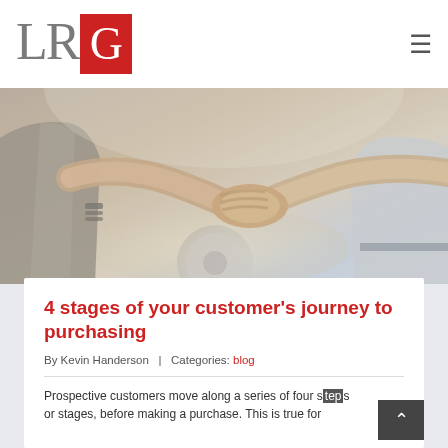LRG
[Figure (photo): Two people shaking hands in what appears to be a car dealership setting, with a car wheel visible in the background. One person wears a grey suit jacket.]
4 stages of your customer's journey to purchasing
By Kevin Handerson  |  Categories: blog
Prospective customers move along a series of four steps or stages, before making a purchase. This is true for